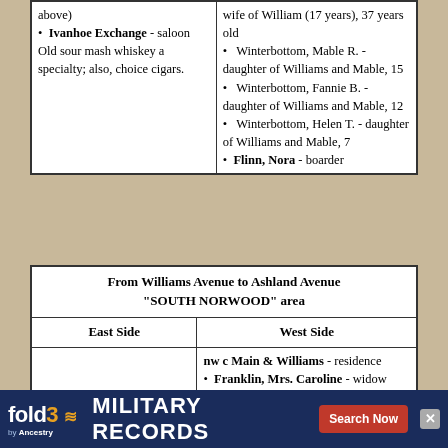| East Side | West Side |
| --- | --- |
| above)
• Ivanhoe Exchange - saloon
Old sour mash whiskey a specialty; also, choice cigars. | wife of William (17 years), 37 years old
• Winterbottom, Mable R. - daughter of Williams and Mable, 15
• Winterbottom, Fannie B. - daughter of Williams and Mable, 12
• Winterbottom, Helen T. - daughter of Williams and Mable, 7
• Flinn, Nora - boarder |
| From Williams Avenue to Ashland Avenue "SOUTH NORWOOD" area |  |
| --- | --- |
| East Side | West Side |
|  | nw c Main & Williams - residence
• Franklin, Mrs. Caroline - widow
Possibly the widow of Henry, and the mother of |